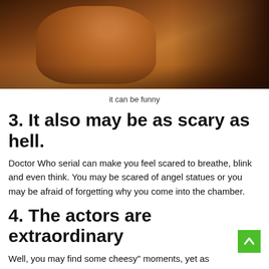[Figure (photo): Photo of a young woman wearing a black top and choker necklace, photographed from below the face, warm amber/brown toned lighting]
it can be funny
3. It also may be as scary as hell.
Doctor Who serial can make you feel scared to breathe, blink and even think. You may be scared of angel statues or you may be afraid of forgetting why you come into the chamber.
4. The actors are extraordinary
Well, you may find some cheesy" moments, yet as